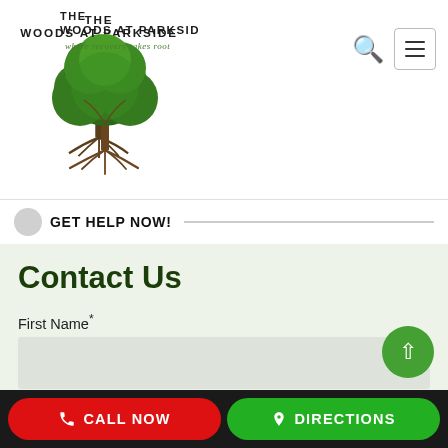[Figure (logo): The Woods at Parkside logo: a tree with roots, text 'THE WOODS AT PARKSIDE' and tagline 'where recovery takes root']
GET HELP NOW!
Contact Us
First Name*
Last Name*
CALL NOW   DIRECTIONS